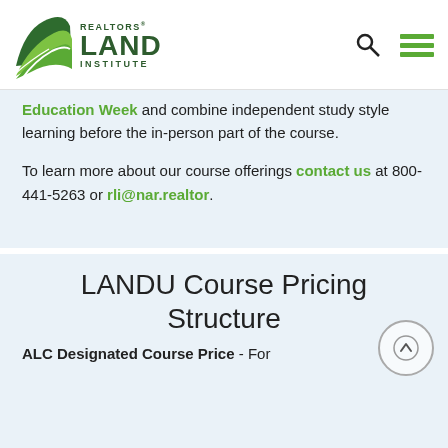REALTORS LAND INSTITUTE
Education Week and combine independent study style learning before the in-person part of the course.
To learn more about our course offerings contact us at 800-441-5263 or rli@nar.realtor.
LANDU Course Pricing Structure
ALC Designated Course Price - For